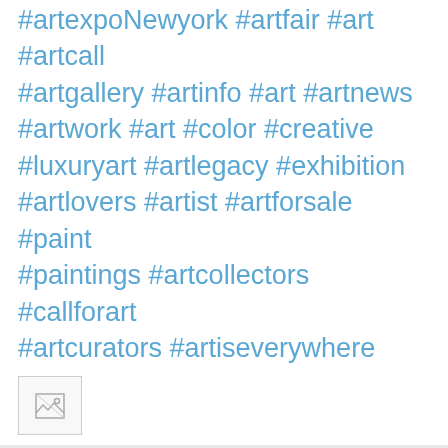#artgallery #artinfo #art #artnews #artwork #art #color #creative #luxuryart #artlegacy #exhibition #artlovers #artist #artforsale #paint #paintings #artcollectors #callforart #artcurators #artiseverywhere
[Figure (other): Broken image placeholder icon]
at May 29, 2021
Share
Thursday, May 27, 2021
Dear Friends, Masters of Power & Sound Artist We take great pride in introducing one of the great artists